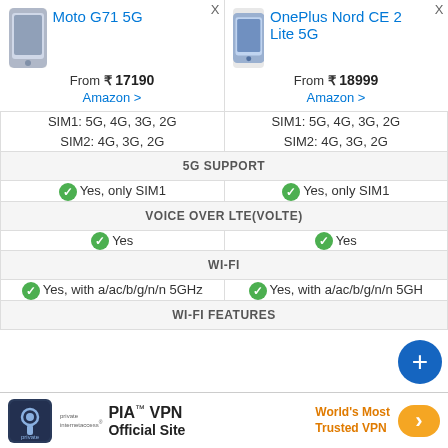| Moto G71 5G | OnePlus Nord CE 2 Lite 5G |
| --- | --- |
| From ₹ 17190
Amazon > | From ₹ 18999
Amazon > |
| SIM1: 5G, 4G, 3G, 2G
SIM2: 4G, 3G, 2G | SIM1: 5G, 4G, 3G, 2G
SIM2: 4G, 3G, 2G |
| 5G SUPPORT | 5G SUPPORT |
| ✓ Yes, only SIM1 | ✓ Yes, only SIM1 |
| VOICE OVER LTE(VOLTE) | VOICE OVER LTE(VOLTE) |
| ✓ Yes | ✓ Yes |
| WI-FI | WI-FI |
| ✓ Yes, with a/ac/b/g/n/n 5GHz | ✓ Yes, with a/ac/b/g/n/n 5GHz |
| WI-FI FEATURES | WI-FI FEATURES |
[Figure (other): PIA VPN advertisement banner: Private Internet Access logo, 'PIA™ VPN Official Site', 'World's Most Trusted VPN' with orange arrow button]